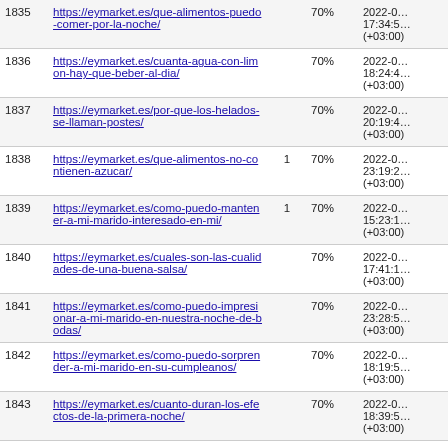| # | URL |  | Priority | Last Modified |
| --- | --- | --- | --- | --- |
| 1835 | https://eymarket.es/que-alimentos-puedo-comer-por-la-noche/ |  | 70% | 2022-0… 17:34:5… (+03:00) |
| 1836 | https://eymarket.es/cuanta-agua-con-limon-hay-que-beber-al-dia/ |  | 70% | 2022-0… 18:24:4… (+03:00) |
| 1837 | https://eymarket.es/por-que-los-helados-se-llaman-postes/ |  | 70% | 2022-0… 20:19:4… (+03:00) |
| 1838 | https://eymarket.es/que-alimentos-no-contienen-azucar/ | 1 | 70% | 2022-0… 23:19:2… (+03:00) |
| 1839 | https://eymarket.es/como-puedo-mantener-a-mi-marido-interesado-en-mi/ | 1 | 70% | 2022-0… 15:23:1… (+03:00) |
| 1840 | https://eymarket.es/cuales-son-las-cualidades-de-una-buena-salsa/ |  | 70% | 2022-0… 17:41:1… (+03:00) |
| 1841 | https://eymarket.es/como-puedo-impresionar-a-mi-marido-en-nuestra-noche-de-bodas/ |  | 70% | 2022-0… 23:28:5… (+03:00) |
| 1842 | https://eymarket.es/como-puedo-sorprender-a-mi-marido-en-su-cumpleanos/ |  | 70% | 2022-0… 18:19:5… (+03:00) |
| 1843 | https://eymarket.es/cuanto-duran-los-efectos-de-la-primera-noche/ |  | 70% | 2022-0… 18:39:5… (+03:00) |
| 1844 | https://eymarket.es/cual-es-el-mejor-… | 1 | 70% | 2022-0… 21:16:3… |